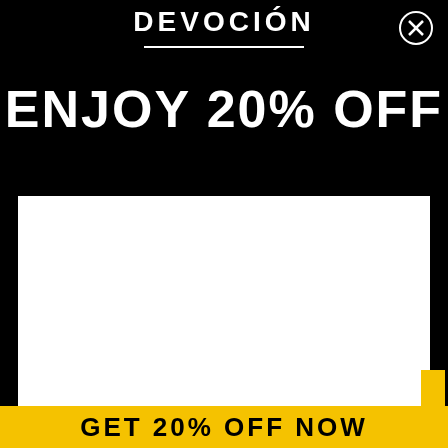DEVOCIÓN
ENJOY 20% OFF
[Figure (other): White rectangular content area placeholder on black background with yellow corner accent]
GET 20% OFF NOW